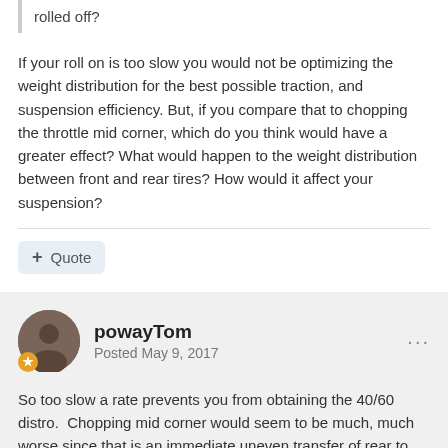rolled off?
If your roll on is too slow you would not be optimizing the weight distribution for the best possible traction, and suspension efficiency. But, if you compare that to chopping the throttle mid corner, which do you think would have a greater effect? What would happen to the weight distribution between front and rear tires? How would it affect your suspension?
Quote
powayTom
Posted May 9, 2017
So too slow a rate prevents you from obtaining the 40/60 distro.  Chopping mid corner would seem to be much, much worse since that is an immediate uneven transfer of rear to front.  The chop would also compress the front fork and lower the rear and